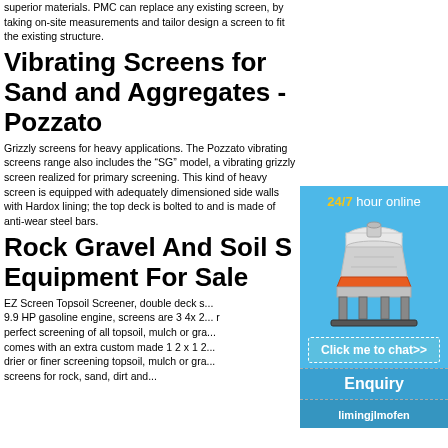superior materials. PMC can replace any existing screen, by taking on-site measurements and tailor design a screen to fit the existing structure.
Vibrating Screens for Sand and Aggregates - Pozzato
Grizzly screens for heavy applications. The Pozzato vibrating screens range also includes the “SG” model, a vibrating grizzly screen realized for primary screening. This kind of heavy screen is equipped with adequately dimensioned side walls with Hardox lining; the top deck is bolted to and is made of anti-wear steel bars.
Rock Gravel And Soil S... Equipment For Sale
EZ Screen Topsoil Screener, double deck s... 9.9 HP gasoline engine, screens are 3 4x 2... perfect screening of all topsoil, mulch or gra... comes with an extra custom made 1 2 x 1 2... drier or finer screening topsoil, mulch or gra... screens for rock, sand, dirt and...
[Figure (other): Advertisement widget with '24/7 hour online' header text in yellow/white, an image of a cone crusher machine, a 'Click me to chat>>' button, an 'Enquiry' section, and 'limingjlmofen' username — all on a blue background.]